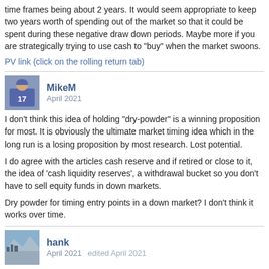time frames being about 2 years. It would seem appropriate to keep two years worth of spending out of the market so that it could be spent during these negative draw down periods. Maybe more if you are strategically trying to use cash to "buy" when the market swoons.
PV link (click on the rolling return tab)
MikeM
April 2021
I don't think this idea of holding "dry-powder" is a winning proposition for most. It is obviously the ultimate market timing idea which in the long run is a losing proposition by most research. Lost potential.
I do agree with the articles cash reserve and if retired or close to it, the idea of 'cash liquidity reserves', a withdrawal bucket so you don't have to sell equity funds in down markets.
Dry powder for timing entry points in a down market? I don't think it works over time.
hank
April 2021   edited April 2021